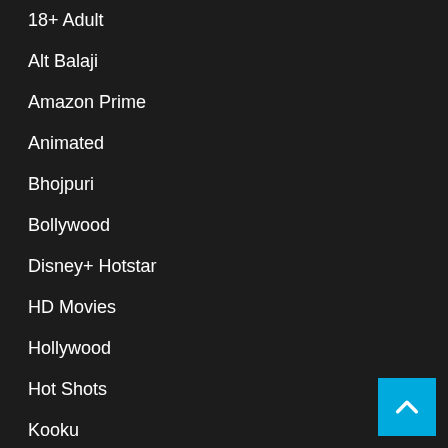18+ Adult
Alt Balaji
Amazon Prime
Animated
Bhojpuri
Bollywood
Disney+ Hotstar
HD Movies
Hollywood
Hot Shots
Kooku
Korean Movie